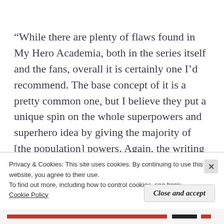“While there are plenty of flaws found in My Hero Academia, both in the series itself and the fans, overall it is certainly one I’d recommend. The base concept of it is a pretty common one, but I believe they put a unique spin on the whole superpowers and superhero idea by giving the majority of [the population] powers. Again, the writing of the
Privacy & Cookies: This site uses cookies. By continuing to use this website, you agree to their use.
To find out more, including how to control cookies, see here:
Cookie Policy
Close and accept